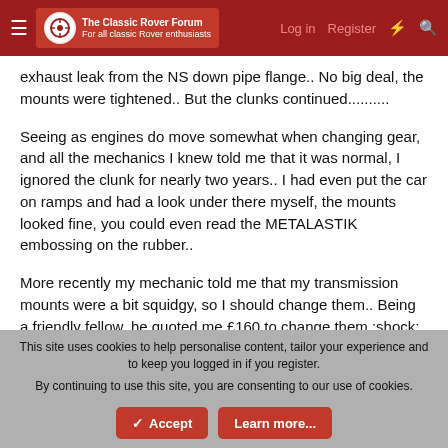The Classic Rover Forum — Log in | Register
exhaust leak from the NS down pipe flange.. No big deal, the mounts were tightened.. But the clunks continued..........
Seeing as engines do move somewhat when changing gear, and all the mechanics I knew told me that it was normal, I ignored the clunk for nearly two years.. I had even put the car on ramps and had a look under there myself, the mounts looked fine, you could even read the METALASTIK embossing on the rubber..
More recently my mechanic told me that my transmission mounts were a bit squidgy, so I should change them.. Being a friendly fellow, he quoted me £160 to change them :shock: - enough motivation for me to do it myself. So I thought since I was changing the transmission mounts, I might as well change
This site uses cookies to help personalise content, tailor your experience and to keep you logged in if you register. By continuing to use this site, you are consenting to our use of cookies.